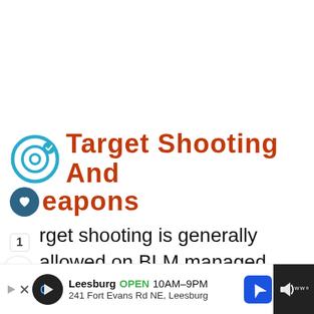Target Shooting And Weapons
Target shooting is generally allowed on BLM managed public lands but in 1993 Canyon National Conservation was closed to target shooting for public
[Figure (screenshot): Advertisement bar: Leesburg OPEN 10AM-9PM, 241 Fort Evans Rd NE, Leesburg]